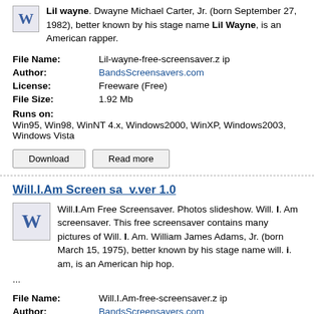Lil wayne. Dwayne Michael Carter, Jr. (born September 27, 1982), better known by his stage name Lil Wayne, is an American rapper.
| File Name: | Lil-wayne-free-screensaver.zip |
| Author: | BandsScreensavers.com |
| License: | Freeware (Free) |
| File Size: | 1.92 Mb |
| Runs on: | Win95, Win98, WinNT 4.x, Windows2000, WinXP, Windows2003, Windows Vista |
Download   Read more
Will.I.Am Screen sa v.ver 1.0
Will.I.Am Free Screensaver. Photos slideshow. Will. I. Am screensaver. This free screensaver contains many pictures of Will. I. Am. William James Adams, Jr. (born March 15, 1975), better known by his stage name will. i. am, is an American hip hop. ...
| File Name: | Will.I.Am-free-screensaver.z ip |
| Author: | BandsScreensavers.com |
| License: | Freeware (Free) |
| File Size: | 2.11 Mb |